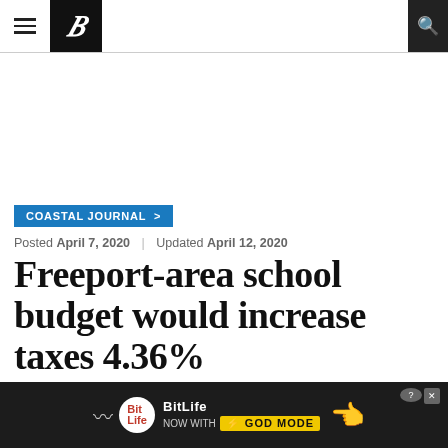Portland Press Herald - Navigation bar with hamburger menu, logo P, and search icon
COASTAL JOURNAL >
Posted April 7, 2020 | Updated April 12, 2020
Freeport-area school budget would increase taxes 4.36%
The RSU 5 School Board OKs a $35.4
[Figure (screenshot): BitLife advertisement banner at bottom of page - 'BitLife NOW WITH GOD MODE' with yellow text and cartoon hands]